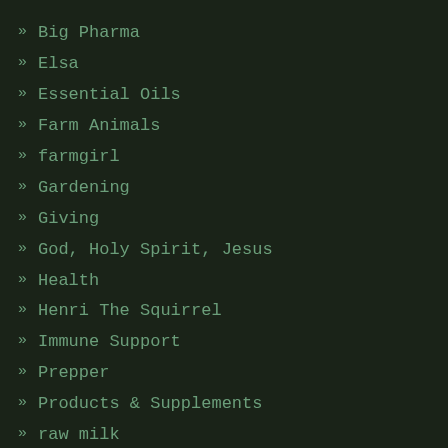Big Pharma
Elsa
Essential Oils
Farm Animals
farmgirl
Gardening
Giving
God, Holy Spirit, Jesus
Health
Henri The Squirrel
Immune Support
Prepper
Products & Supplements
raw milk